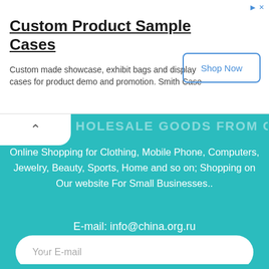[Figure (screenshot): Advertisement banner for 'Custom Product Sample Cases' with a 'Shop Now' button]
Custom Product Sample Cases
Custom made showcase, exhibit bags and display cases for product demo and promotion. Smith Case
WHOLESALE GOODS FROM CHINA
Online Shopping for Clothing, Mobile Phone, Computers, Jewelry, Beauty, Sports, Home and so on; Shopping on Our website For Small Businesses..
E-mail: info@china.org.ru
Your E-mail
SUBSCRIBE